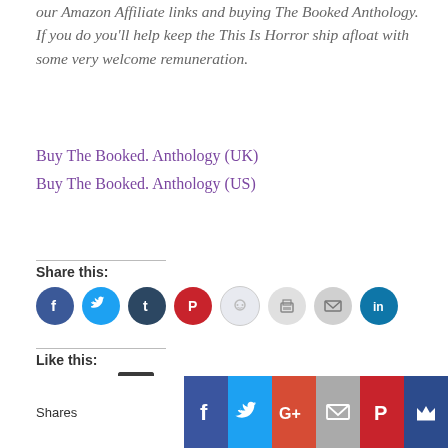our Amazon Affiliate links and buying The Booked Anthology. If you do you'll help keep the This Is Horror ship afloat with some very welcome remuneration.
Buy The Booked. Anthology (UK)
Buy The Booked. Anthology (US)
Share this:
[Figure (infographic): Row of social media share icon circles: Facebook (blue), Twitter (light blue), Tumblr (dark navy), Pinterest (red), Reddit (light blue/grey), Print (grey), Email (grey), LinkedIn (teal)]
Like this:
[Figure (infographic): Like button widget with star icon and avatar thumbnail. Text below: One blogger likes this.]
[Figure (infographic): Bottom social sharing bar with: Shares label, Facebook (blue), Twitter (light blue), Google+ (red-orange), Email (grey), Pinterest (red), Sumome crown (dark blue) icons]